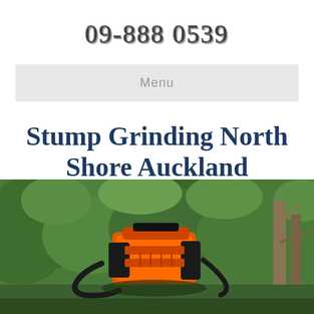09-888 0539
Menu
Stump Grinding North Shore Auckland
[Figure (photo): Photograph of a chainsaw or stump grinding equipment with orange and black machinery visible in the foreground, surrounded by green trees and foliage in the background.]